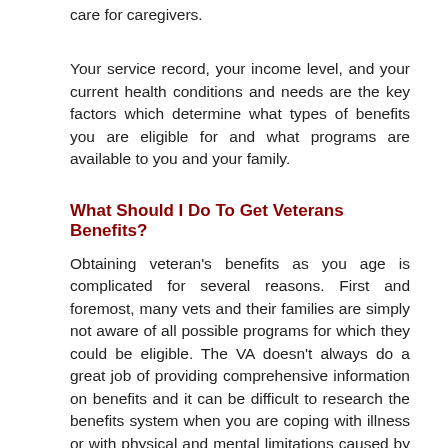care for caregivers.
Your service record, your income level, and your current health conditions and needs are the key factors which determine what types of benefits you are eligible for and what programs are available to you and your family.
What Should I Do To Get Veterans Benefits?
Obtaining veteran's benefits as you age is complicated for several reasons. First and foremost, many vets and their families are simply not aware of all possible programs for which they could be eligible. The VA doesn't always do a great job of providing comprehensive information on benefits and it can be difficult to research the benefits system when you are coping with illness or with physical and mental limitations caused by aging.
The VA bureaucracy is also difficult to navigate. Computers are outdated, records may not be digitized if you served a long time ago, and access to information on your service record can